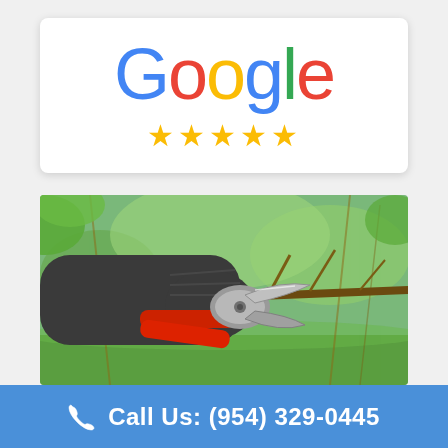[Figure (logo): Google logo with colorful letters and five gold stars below on a white card]
[Figure (photo): A gloved hand using red-handled pruning shears to cut a tree branch in a green garden]
Call Us: (954) 329-0445